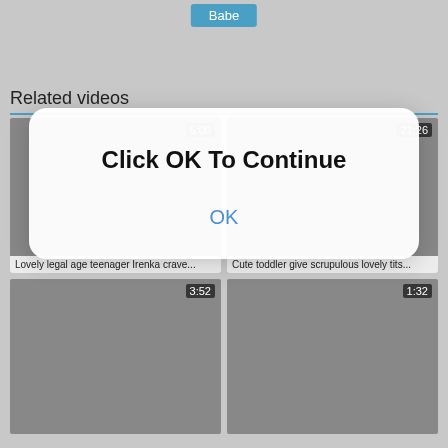Babe
Related videos
[Figure (screenshot): Video thumbnail 1 with duration 5:00 and title 'Lovely legal age teenager Irenka crave...']
Lovely legal age teenager Irenka crave...
[Figure (screenshot): Video thumbnail 2 with duration 21:26 and title 'Cute toddler give scrupulous lovely tits...']
Cute toddler give scrupulous lovely tits...
[Figure (screenshot): Video thumbnail 3 with duration 3:52]
[Figure (screenshot): Video thumbnail 4 with duration 1:32]
Click OK To Continue
OK